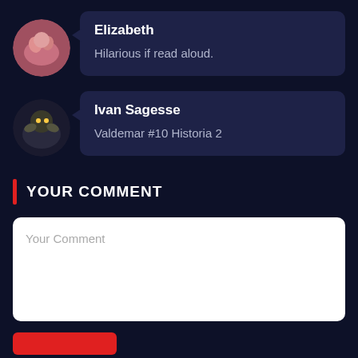Elizabeth
Hilarious if read aloud.
Ivan Sagesse
Valdemar #10 Historia 2
YOUR COMMENT
Your Comment